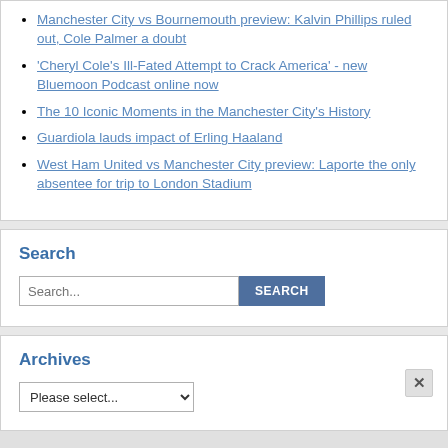Manchester City vs Bournemouth preview: Kalvin Phillips ruled out, Cole Palmer a doubt
'Cheryl Cole's Ill-Fated Attempt to Crack America' - new Bluemoon Podcast online now
The 10 Iconic Moments in the Manchester City's History
Guardiola lauds impact of Erling Haaland
West Ham United vs Manchester City preview: Laporte the only absentee for trip to London Stadium
Search
Search... [input] SEARCH [button]
Archives
Please select... [dropdown] x